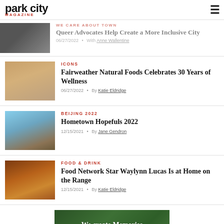park city magazine
WE CARE ABOUT TOWN
Queer Advocates Help Create a More Inclusive City
06/27/2022 • With Anne Wallentine
ICONS
Fairweather Natural Foods Celebrates 30 Years of Wellness
06/27/2022 • By Katie Eldridge
BEIJING 2022
Hometown Hopefuls 2022
12/15/2021 • By Jane Gendron
FOOD & DRINK
Food Network Star Waylynn Lucas Is at Home on the Range
12/15/2021 • By Katie Eldridge
[Figure (photo): Green outdoor banner with text: We create Memories that last a lifetime!]